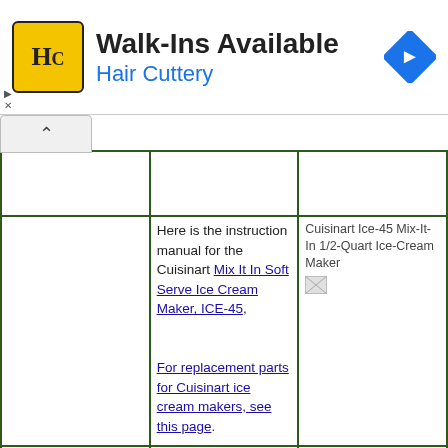[Figure (screenshot): Hair Cuttery advertisement banner with yellow HC logo, 'Walk-Ins Available' text, 'Hair Cuttery' subtitle in blue, and a blue diamond navigation icon on the right. Small play and X close controls at left edge.]
|  |  |  |
|  | Here is the instruction manual for the Cuisinart Mix It In Soft Serve Ice Cream Maker, ICE-45,

For replacement parts for Cuisinart ice cream makers, see this page. | Cuisinart Ice-45 Mix-It-In 1/2-Quart Ice-Cream Maker [image] |
| Contessan Ice Cream... | For models sold in the UK... | [image] |